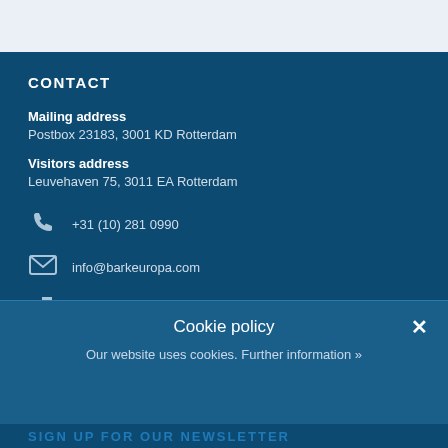CONTACT
Mailing address
Postbox 23183, 3001 KD Rotterdam
Visitors address
Leuvehaven 75, 3011 EA Rotterdam
+31 (10) 281 0990
info@barkeuropa.com
Route
Cookie policy
Our website uses cookies. Further information »
SIGN UP FOR OUR NEWSLETTER